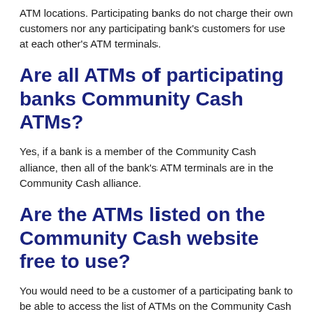ATM locations. Participating banks do not charge their own customers nor any participating bank's customers for use at each other's ATM terminals.
Are all ATMs of participating banks Community Cash ATMs?
Yes, if a bank is a member of the Community Cash alliance, then all of the bank's ATM terminals are in the Community Cash alliance.
Are the ATMs listed on the Community Cash website free to use?
You would need to be a customer of a participating bank to be able to access the list of ATMs on the Community Cash